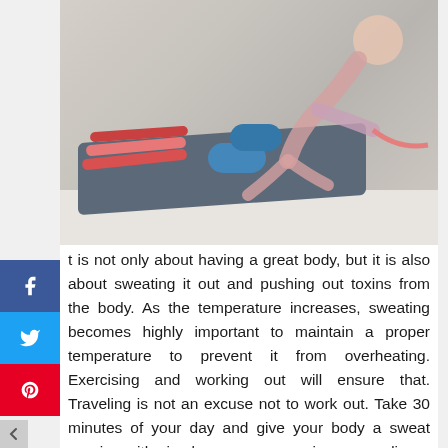[Figure (photo): Woman exercising on a yoga mat using a resistance band, with resistance bands and blue dumbbells on the floor in the foreground]
t is not only about having a great body, but it is also about sweating it out and pushing out toxins from the body. As the temperature increases, sweating becomes highly important to maintain a proper temperature to prevent it from overheating. Exercising and working out will ensure that. Traveling is not an excuse not to work out. Take 30 minutes of your day and give your body a sweat session with simple warm-up exercises or cardio, or even yoga. This will immensely help you fight off the heat in summers.